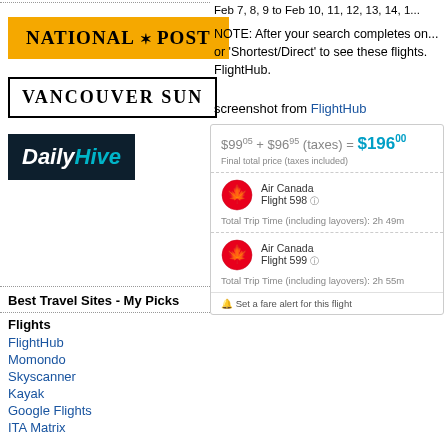[Figure (logo): National Post logo - gold/amber background with bold serif text]
[Figure (logo): Vancouver Sun logo - white background with black border and bold serif text]
[Figure (logo): Daily Hive logo - dark navy background with white and teal italic text]
Feb 7, 8, 9 to Feb 10, 11, 12, 13, 14, 1...
NOTE: After your search completes on... or 'Shortest/Direct' to see these flights. FlightHub.
screenshot from FlightHub
[Figure (screenshot): FlightHub flight booking screenshot showing $99.05 + $96.95 (taxes) = $196.00 total, Air Canada Flight 598 2h 49m, Air Canada Flight 599 2h 55m, with fare alert option]
Best Travel Sites - My Picks
Flights
FlightHub
Momondo
Skyscanner
Kayak
Google Flights
ITA Matrix